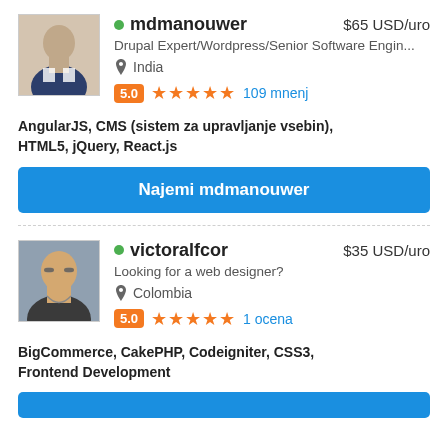[Figure (photo): Profile photo of mdmanouwer - man in suit]
mdmanouwer  $65 USD/uro
Drupal Expert/Wordpress/Senior Software Engin...
India
5.0  ★★★★★  109 mnenj
AngularJS, CMS (sistem za upravljanje vsebin), HTML5, jQuery, React.js
Najemi mdmanouwer
[Figure (photo): Profile photo of victoralfcor - man with glasses]
victoralfcor  $35 USD/uro
Looking for a web designer?
Colombia
5.0  ★★★★★  1 ocena
BigCommerce, CakePHP, Codeigniter, CSS3, Frontend Development